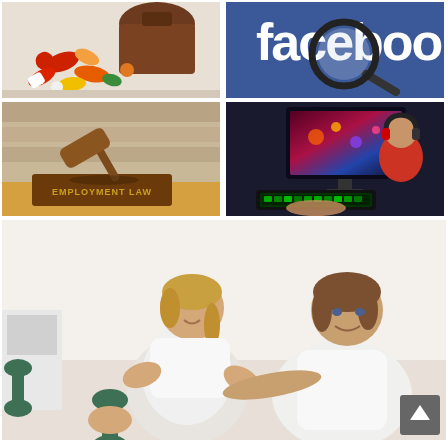[Figure (photo): Pills and capsules spilling out of a brown bottle on a white surface]
[Figure (photo): Facebook logo with a magnifying glass overlaid on a blue background]
[Figure (photo): Employment Law book with a wooden gavel on top, library shelves in background]
[Figure (photo): Person wearing headphones gaming on a PC with glowing green keyboard in dark room]
[Figure (photo): Physical therapist helping a woman exercise with a dumbbell, rehabilitation session]